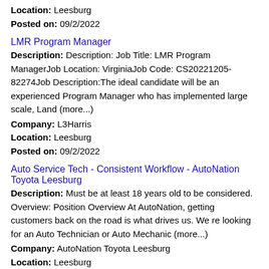Location: Leesburg
Posted on: 09/2/2022
LMR Program Manager
Description: Description: Job Title: LMR Program ManagerJob Location: VirginiaJob Code: CS20221205-82274Job Description:The ideal candidate will be an experienced Program Manager who has implemented large scale, Land (more...)
Company: L3Harris
Location: Leesburg
Posted on: 09/2/2022
Auto Service Tech - Consistent Workflow - AutoNation Toyota Leesburg
Description: Must be at least 18 years old to be considered. Overview: Position Overview At AutoNation, getting customers back on the road is what drives us. We re looking for an Auto Technician or Auto Mechanic (more...)
Company: AutoNation Toyota Leesburg
Location: Leesburg
Posted on: 09/2/2022
Salary in Sterling, Virginia Area | More details for Sterling, Virginia Jobs |Salary